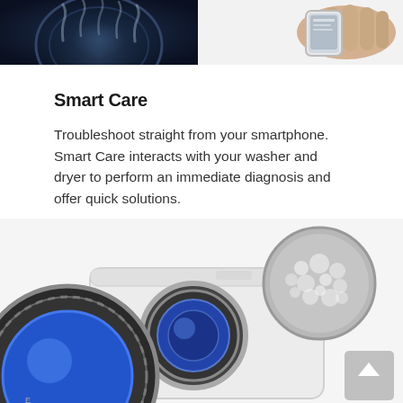[Figure (photo): Two product images side by side at the top: left shows a dark washer drum with steam wisps on dark background; right shows a hand holding a smartphone against light background]
Smart Care
Troubleshoot straight from your smartphone. Smart Care interacts with your washer and dryer to perform an immediate diagnosis and offer quick solutions.
[Figure (photo): Bottom product image showing a Samsung washing machine with the door open revealing a blue drum interior, a dark circular door close-up on the left, and a circular bubble/foam close-up inset on the upper right. A scroll-to-top button appears in the lower right corner.]